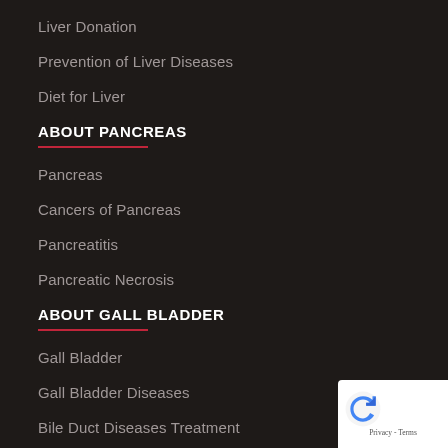Liver Donation
Prevention of Liver Diseases
Diet for Liver
ABOUT PANCREAS
Pancreas
Cancers of Pancreas
Pancreatitis
Pancreatic Necrosis
ABOUT GALL BLADDER
Gall Bladder
Gall Bladder Diseases
Bile Duct Diseases Treatment
Obstructive Jaundice
LOCATION
[Figure (logo): Google reCAPTCHA badge with blue arrow icon and Privacy - Terms text]